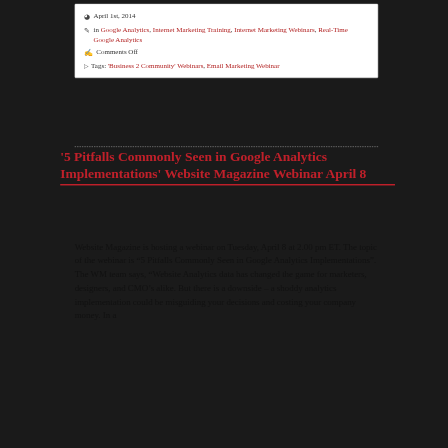April 1st, 2014
in Google Analytics, Internet Marketing Training, Internet Marketing Webinars, Real-Time Google Analytics
Comments Off
Tags: 'Business 2 Community' Webinars, Email Marketing Webinar
'5 Pitfalls Commonly Seen in Google Analytics Implementations' Website Magazine Webinar April 8
Website Magazine is hosting a webinar on Tuesday, April 8 at 2.00 pm ET. The topic of the webinar is “5 Pitfalls Commonly Seen in Google Analytics Implementations”. The WM team says, “Website Analytics data has changed the game for marketers, designers, and CMO’s alike. But there is a downside – a shoddy analytics implementation could be misguiding your decisions and costing your company money. In a